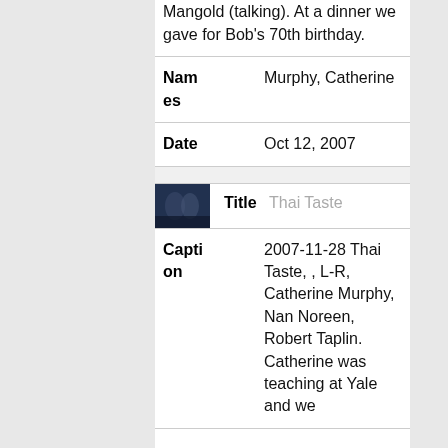Mangold (talking). At a dinner we gave for Bob's 70th birthday.
| Field | Value |
| --- | --- |
| Names | Murphy, Catherine |
| Date | Oct 12, 2007 |
[Figure (photo): Small thumbnail image of people at a restaurant, dark blue/night tones]
| Field | Value |
| --- | --- |
| Title | Thai Taste |
| Caption | 2007-11-28 Thai Taste, , L-R, Catherine Murphy, Nan Noreen, Robert Taplin. Catherine was teaching at Yale and we |